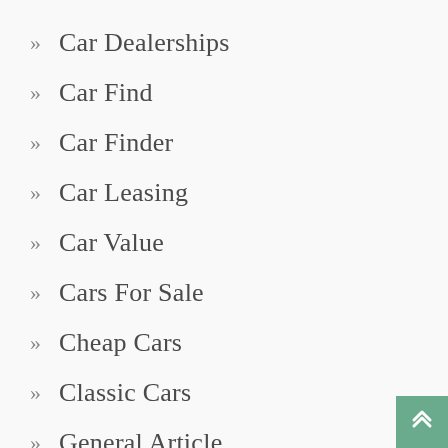Car Dealerships
Car Find
Car Finder
Car Leasing
Car Value
Cars For Sale
Cheap Cars
Classic Cars
General Article
General Articles